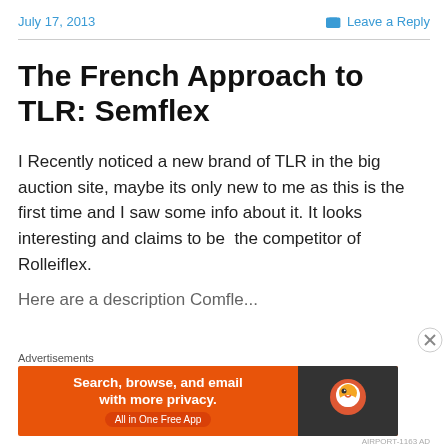July 17, 2013    Leave a Reply
The French Approach to TLR: Semflex
I Recently noticed a new brand of TLR in the big auction site, maybe its only new to me as this is the first time and I saw some info about it. It looks interesting and claims to be  the competitor of Rolleiflex.
[Figure (screenshot): DuckDuckGo advertisement banner: orange background with 'Search, browse, and email with more privacy. All in One Free App' text on left, DuckDuckGo logo on dark right panel. Advertisements label above.]